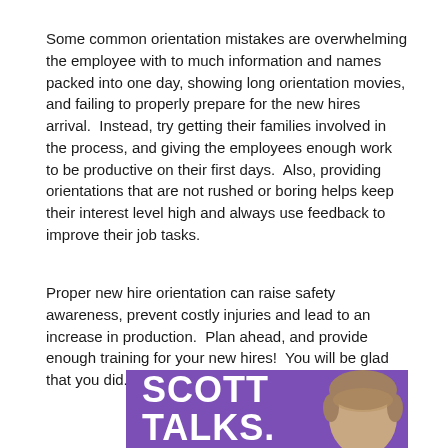Some common orientation mistakes are overwhelming the employee with to much information and names packed into one day, showing long orientation movies, and failing to properly prepare for the new hires arrival.  Instead, try getting their families involved in the process, and giving the employees enough work to be productive on their first days.  Also, providing orientations that are not rushed or boring helps keep their interest level high and always use feedback to improve their job tasks.
Proper new hire orientation can raise safety awareness, prevent costly injuries and lead to an increase in production.  Plan ahead, and provide enough training for your new hires!  You will be glad that you did.
[Figure (photo): Purple banner graphic showing 'SCOTT TALKS.' text in large white bold letters on a purple background with a partial photo of a man's face on the right side.]